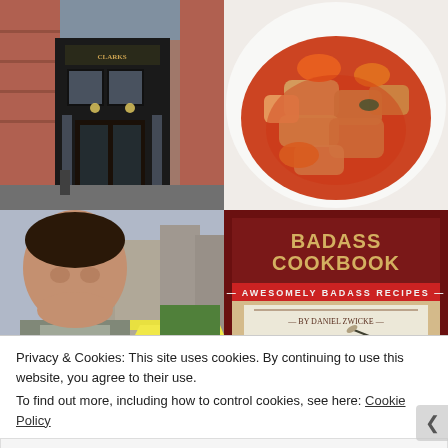[Figure (photo): Exterior of Clarke's pub/restaurant with dark Victorian shopfront, brick building, street scene]
[Figure (photo): Close-up of a dish of food: chunky vegetables in a red tomato sauce, possibly a stew with potatoes and carrots on a white plate]
[Figure (photo): Man in an apron looking down, street market in background with colorful awnings and city buildings]
[Figure (photo): Book cover: 'BADASS COOKBOOK - Awesomely Badass Recipes - By Daniel Zwicke' with tagline 'You don't have to be a Badass... the Recipes already are!']
Privacy & Cookies: This site uses cookies. By continuing to use this website, you agree to their use.
To find out more, including how to control cookies, see here: Cookie Policy
Close and accept